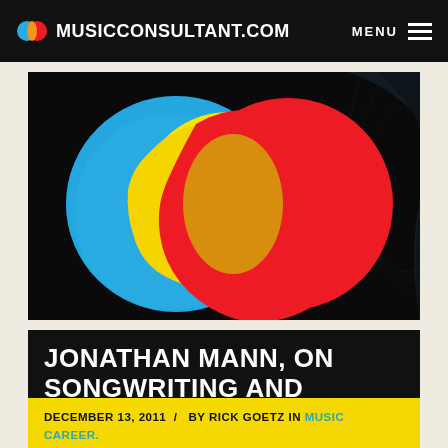MUSICCONSULTANT.COM | MENU
[Figure (illustration): Colorful vinyl record / Venn diagram illustration with three overlapping circles in cyan/blue, yellow, and red on a dark black background with vinyl record grooves visible.]
JONATHAN MANN, ON SONGWRITING AND YOUTUBE
DECEMBER 13, 2011 / BY RICK GOETZ IN MUSIC CAREER.